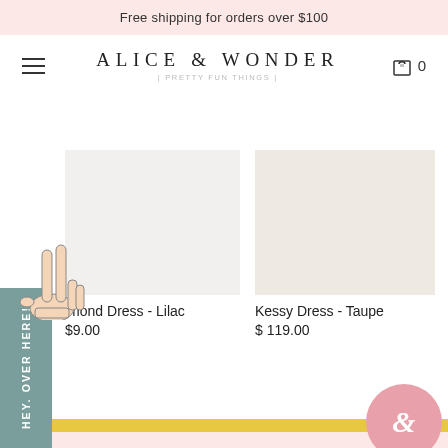Free shipping for orders over $100
[Figure (logo): Alice & Wonder logo with tagline 'pretty fun things']
[Figure (illustration): Hand making peace sign illustration above a sage green side tab with text HEY. OVER HERE!]
imond Dress - Lilac
$9.00
Kessy Dress - Taupe
$ 119.00
[Figure (illustration): Pink circle badge with ampersand symbol]